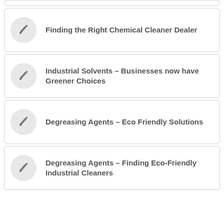Finding the Right Chemical Cleaner Dealer
Industrial Solvents – Businesses now have Greener Choices
Degreasing Agents – Eco Friendly Solutions
Degreasing Agents – Finding Eco-Friendly Industrial Cleaners